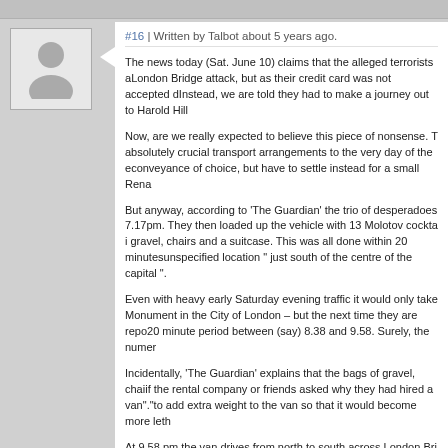#16 | Written by Talbot about 5 years ago.
The news today (Sat. June 10) claims that the alleged terrorists attempted to hire a larger van for the London Bridge attack, but as their credit card was not accepted due to a spending limit, they had to go elsewhere. Instead, we are told they had to make a journey out to Harold Hill...
Now, are we really expected to believe this piece of nonsense. That they had left absolutely crucial transport arrangements to the very day of the event? Cannot obtain their conveyance of choice, but have to settle instead for a small Rena...
But anyway, according to 'The Guardian' the trio of desperadoes picked up the van at 7.17pm. They then loaded up the vehicle with 13 Molotov cocktails, 11 wine bottles, gravel, chairs and a suitcase. This was all done within 20 minutes at an unspecified location " just south of the centre of the capital ".
Even with heavy early Saturday evening traffic it would only take ... Monument in the City of London – but the next time they are repo... 20 minute period between (say) 8.38 and 9.58. Surely, the numer...
Incidentally, 'The Guardian' explains that the bags of gravel, chai... if the rental company or friends asked why they had hired a van". "to add extra weight to the van so that it would become more leth...
At 9.58 pm the van drives from north to south across London Bri... same journey again and returns to the starting point. 'The Guardi...